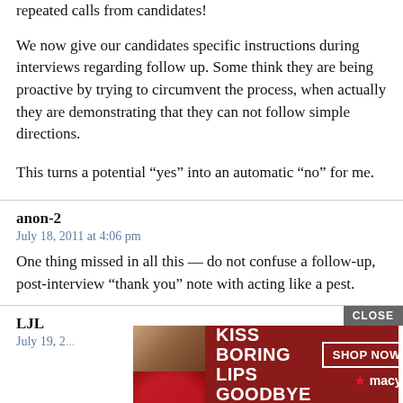Nothing is more annoying (and time-sapping) than fielding repeated calls from candidates!
We now give our candidates specific instructions during interviews regarding follow up. Some think they are being proactive by trying to circumvent the process, when actually they are demonstrating that they can not follow simple directions.
This turns a potential “yes” into an automatic “no” for me.
anon-2
July 18, 2011 at 4:06 pm
One thing missed in all this — do not confuse a follow-up, post-interview “thank you” note with acting like a pest.
LJL
July 19, 2...
[Figure (screenshot): Advertisement banner: Kiss Boring Lips Goodbye - Macy's, with Shop Now button and photo of woman with red lips]